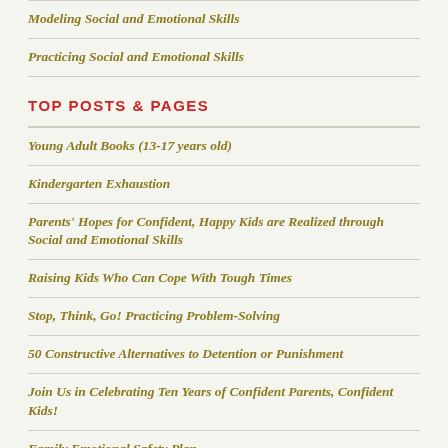Modeling Social and Emotional Skills
Practicing Social and Emotional Skills
TOP POSTS & PAGES
Young Adult Books (13-17 years old)
Kindergarten Exhaustion
Parents' Hopes for Confident, Happy Kids are Realized through Social and Emotional Skills
Raising Kids Who Can Cope With Tough Times
Stop, Think, Go! Practicing Problem-Solving
50 Constructive Alternatives to Detention or Punishment
Join Us in Celebrating Ten Years of Confident Parents, Confident Kids!
Family Emotional Safety Plan